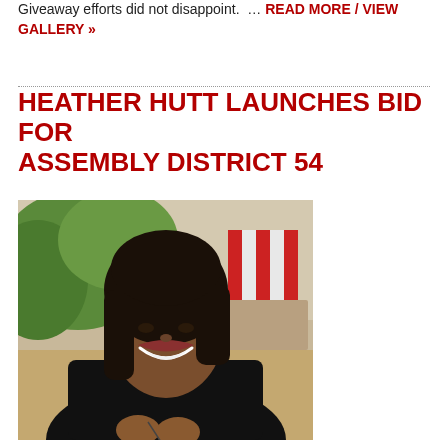Giveaway efforts did not disappoint.  … READ MORE / VIEW GALLERY »
HEATHER HUTT LAUNCHES BID FOR ASSEMBLY DISTRICT 54
[Figure (photo): Portrait photo of Heather Hutt, a woman with dark shoulder-length hair wearing a black long-sleeve top, smiling, with an outdoor background featuring green trees and a red and white striped umbrella.]